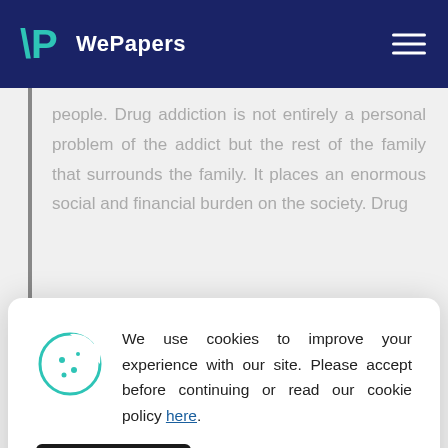WePapers
people. Drug addiction is not entirely a personal problem of the addict but the rest of the family that surrounds the family. It places an enormous social and financial burden on the society. Drug
[Figure (other): Cookie consent modal with cookie icon, text about cookies, and an ACCEPT button]
offers an environment that encourages Continue reading...